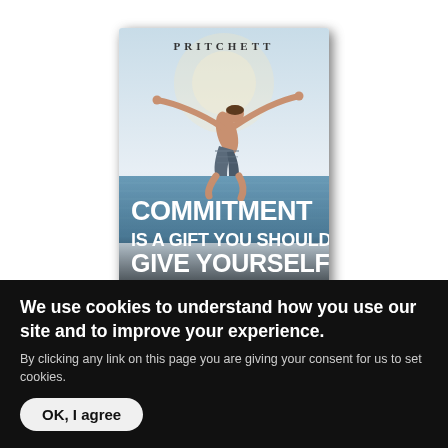[Figure (illustration): Book cover for 'Commitment Is a Gift You Should Give Yourself' by Pritchett. Shows a person diving/jumping with arms outstretched over an ocean, with bold white text at the bottom displaying the title.]
We use cookies to understand how you use our site and to improve your experience.
By clicking any link on this page you are giving your consent for us to set cookies.
OK, I agree